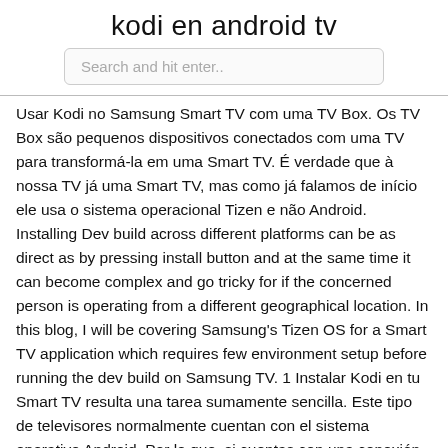kodi en android tv
Search and hit enter..
Usar Kodi no Samsung Smart TV com uma TV Box. Os TV Box são pequenos dispositivos conectados com uma TV para transformá-la em uma Smart TV. É verdade que à nossa TV já uma Smart TV, mas como já falamos de início ele usa o sistema operacional Tizen e não Android. Installing Dev build across different platforms can be as direct as by pressing install button and at the same time it can become complex and go tricky for if the concerned person is operating from a different geographical location. In this blog, I will be covering Samsung's Tizen OS for a Smart TV application which requires few environment setup before running the dev build on Samsung TV. 1 Instalar Kodi en tu Smart TV resulta una tarea sumamente sencilla. Este tipo de televisores normalmente cuentan con el sistema operativo Android. Por lo que, si cuentas con una conexión a internet, puedes ingresar a la tienda de aplicaciones de tu televisor, descargarlo e instalarlo. Mi Smart TV no tiene Android Cómo instalar Kodi en un televisor con Android TV sin usar Google Play Store.